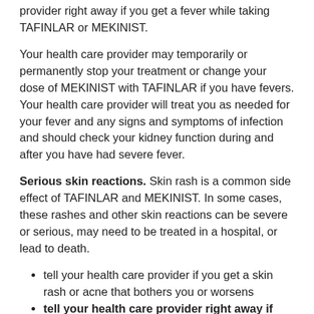provider right away if you get a fever while taking TAFINLAR or MEKINIST.
Your health care provider may temporarily or permanently stop your treatment or change your dose of MEKINIST with TAFINLAR if you have fevers. Your health care provider will treat you as needed for your fever and any signs and symptoms of infection and should check your kidney function during and after you have had severe fever.
Serious skin reactions. Skin rash is a common side effect of TAFINLAR and MEKINIST. In some cases, these rashes and other skin reactions can be severe or serious, may need to be treated in a hospital, or lead to death.
tell your health care provider if you get a skin rash or acne that bothers you or worsens
tell your health care provider right away if you develop any of the following signs or symptoms of a severe skin reaction, including:
blisters or peeling of your skin
mouth sores
high fever or flu-like symptoms